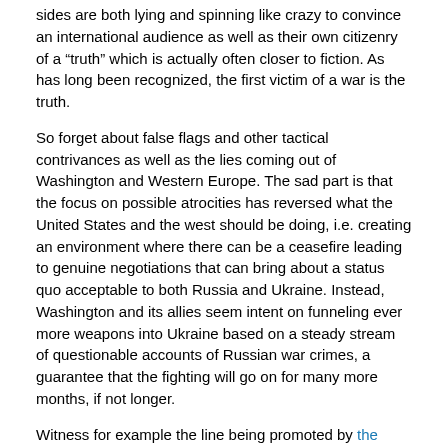sides are both lying and spinning like crazy to convince an international audience as well as their own citizenry of a “truth” which is actually often closer to fiction. As has long been recognized, the first victim of a war is the truth.
So forget about false flags and other tactical contrivances as well as the lies coming out of Washington and Western Europe. The sad part is that the focus on possible atrocities has reversed what the United States and the west should be doing, i.e. creating an environment where there can be a ceasefire leading to genuine negotiations that can bring about a status quo acceptable to both Russia and Ukraine. Instead, Washington and its allies seem intent on funneling ever more weapons into Ukraine based on a steady stream of questionable accounts of Russian war crimes, a guarantee that the fighting will go on for many more months, if not longer.
Witness for example the line being promoted by the notorious retired US Army Colonel Alexander Vindman, formerly of the US National Security Council but Ukrainian-Jewish born and an enthusiastic advocate of war with Russia. He argues based on the claimed Russian crimes that “Despite what people like Tucker Carlson tell you, there are not two sides to the story of Russia’s war on Ukraine. It IS a story of good and evil. All you have to do is look at the massacre of civilians in Bucha, the missile strike on Kramatorsk railway station, or the countless other atrocities being committed by Russian forces across Ukraine to see it clearly.”
Vindman’s thinking comes out of the neocon playbook of a proper role